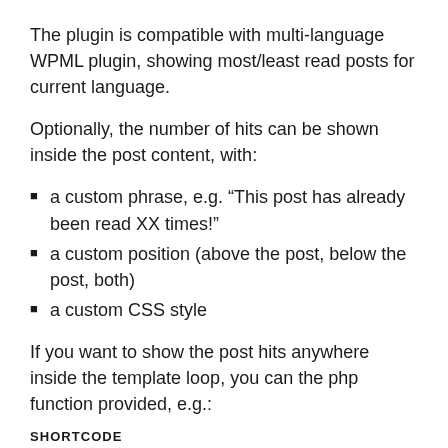The plugin is compatible with multi-language WPML plugin, showing most/least read posts for current language.
Optionally, the number of hits can be shown inside the post content, with:
a custom phrase, e.g. “This post has already been read XX times!”
a custom position (above the post, below the post, both)
a custom CSS style
If you want to show the post hits anywhere inside the template loop, you can the php function provided, e.g.:
SHORTCODE